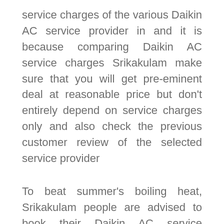service charges of the various Daikin AC service provider in and it is because comparing Daikin AC service charges Srikakulam make sure that you will get pre-eminent deal at reasonable price but don't entirely depend on service charges only and also check the previous customer review of the selected service provider
To beat summer's boiling heat, Srikakulam people are advised to book their Daikin AC service regularly, but it is not easy as in Srikakulam wide range of Daikin service provider are available to provide you pre-eminent and world-class air conditioner service experience at your doorstep, so be careful all the time you hire the Daikin AC service provider and also ensure to check service provided by the selected service provider and do not forget to check charges